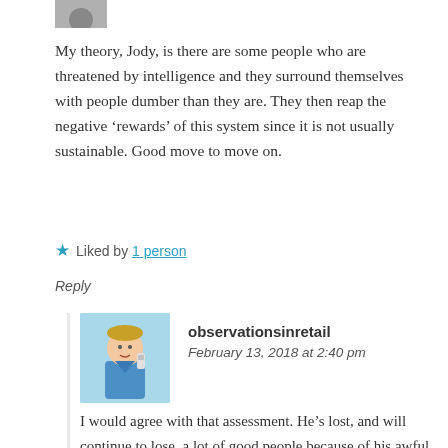[Figure (photo): Partial avatar photo at top, cropped]
My theory, Jody, is there are some people who are threatened by intelligence and they surround themselves with people dumber than they are. They then reap the negative ‘rewards’ of this system since it is not usually sustainable. Good move to move on.
★ Liked by 1 person
Reply
[Figure (illustration): Avatar illustration of a person in blue uniform holding something, square thumbnail]
observationsinretail
February 13, 2018 at 2:40 pm
I would agree with that assessment. He’s lost, and will continue to lose, a lot of good people because of his awful management. It’s sad really
★ Liked by 1 person
Reply